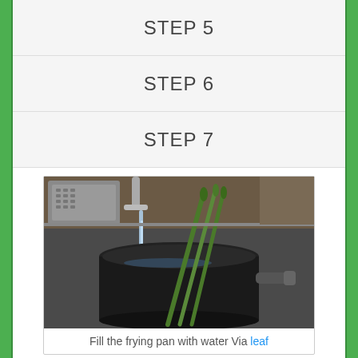STEP 5
STEP 6
STEP 7
[Figure (photo): A dark frying pan/pot being filled with water from a faucet, with green asparagus stalks inside the pan, set in a kitchen sink.]
Fill the frying pan with water Via leaf
Fill the frying pan with water